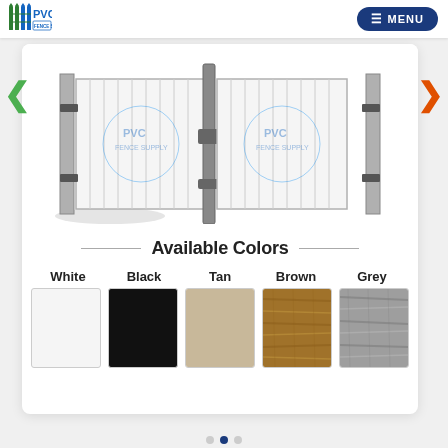[Figure (logo): PVC Fence Supply logo with fence post icon and company name]
[Figure (illustration): Engineering diagram of a double swing gate with PVC Fence Supply branding, shown in white/grey schematic style with latch hardware detail]
Available Colors
White   Black   Tan   Brown   Grey
[Figure (infographic): Five color swatches showing available fence colors: White (light grey swatch), Black (solid black swatch), Tan (beige/tan swatch), Brown (wood grain brown swatch), Grey (weathered wood grey swatch)]